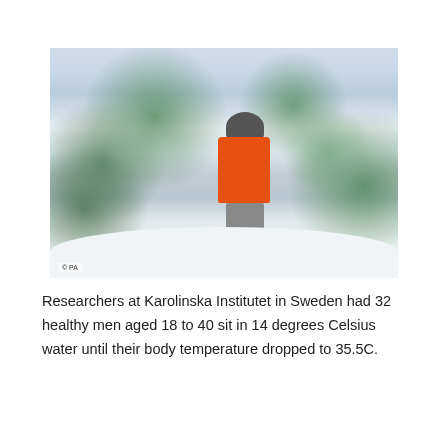[Figure (photo): A postal worker wearing an orange high-visibility jacket and shorts walks through heavy snowfall in a snow-covered garden or street setting. Snow-laden bushes and trees are visible. Photo credit: © PA]
Researchers at Karolinska Institutet in Sweden had 32 healthy men aged 18 to 40 sit in 14 degrees Celsius water until their body temperature dropped to 35.5C.